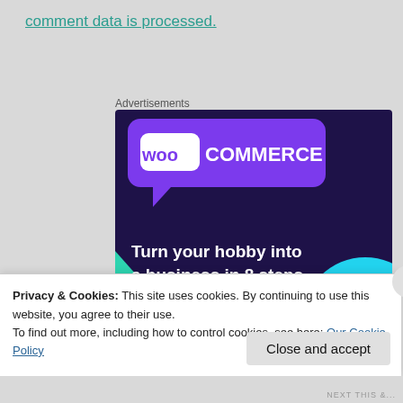comment data is processed.
Advertisements
[Figure (illustration): WooCommerce advertisement banner with dark purple background, purple speech bubble logo with 'woo COMMERCE' text, green triangle shape, cyan circle, tagline 'Turn your hobby into a business in 8 steps', and a 'Start a new store' button.]
Privacy & Cookies: This site uses cookies. By continuing to use this website, you agree to their use.
To find out more, including how to control cookies, see here: Our Cookie Policy
Close and accept